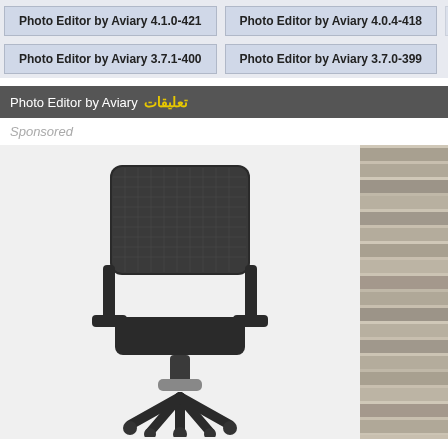Photo Editor by Aviary 4.1.0-421
Photo Editor by Aviary 4.0.4-418
Photo Editor by Aviary 3.7.1-400
Photo Editor by Aviary 3.7.0-399
Photo Editor by Aviary تعليقات
Sponsored
[Figure (photo): Black ergonomic office chair with mesh back, armrests, and rolling base on a white/light gray background]
[Figure (photo): Brick or stone wall texture in grayscale/sepia tones, partially visible on right side]